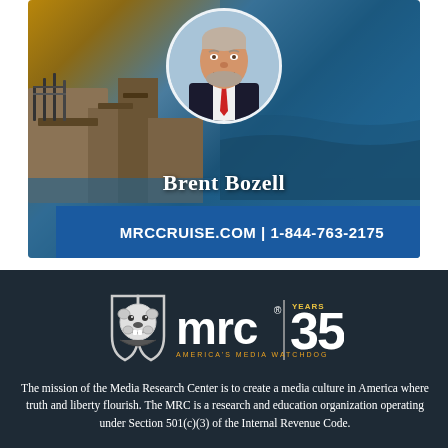[Figure (photo): Cruise advertisement image featuring Brent Bozell with a circular portrait photo of a smiling man with grey beard in suit and red tie, set against a scenic background of rocky cliffs and blue ocean water.]
Brent Bozell
MRCCRUISE.COM | 1-844-763-2175
[Figure (logo): MRC logo with bulldog shield icon, 'mrc' text, 'AMERICA'S MEDIA WATCHDOG' tagline, and '35 YEARS' badge]
The mission of the Media Research Center is to create a media culture in America where truth and liberty flourish. The MRC is a research and education organization operating under Section 501(c)(3) of the Internal Revenue Code.